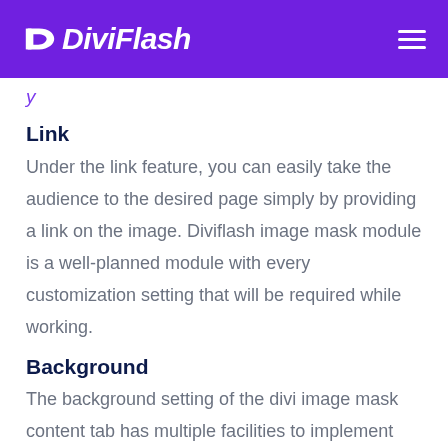DiviFlash
y
Link
Under the link feature, you can easily take the audience to the desired page simply by providing a link on the image. Diviflash image mask module is a well-planned module with every customization setting that will be required while working.
Background
The background setting of the divi image mask content tab has multiple facilities to implement